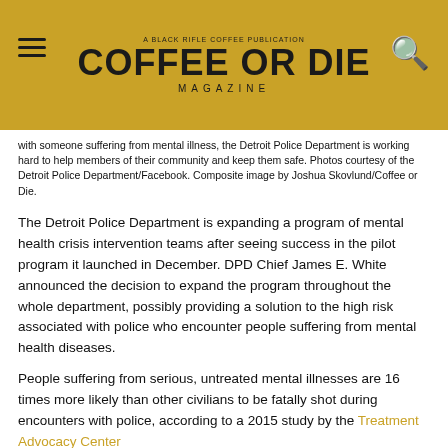[Figure (logo): Coffee or Die Magazine logo on golden/olive yellow header bar with hamburger menu icon on left and search icon on right]
with someone suffering from mental illness, the Detroit Police Department is working hard to help members of their community and keep them safe. Photos courtesy of the Detroit Police Department/Facebook. Composite image by Joshua Skovlund/Coffee or Die.
The Detroit Police Department is expanding a program of mental health crisis intervention teams after seeing success in the pilot program it launched in December. DPD Chief James E. White announced the decision to expand the program throughout the whole department, possibly providing a solution to the high risk associated with police who encounter people suffering from mental health diseases.
People suffering from serious, untreated mental illnesses are 16 times more likely than other civilians to be fatally shot during encounters with police, according to a 2015 study by the Treatment Advocacy Center